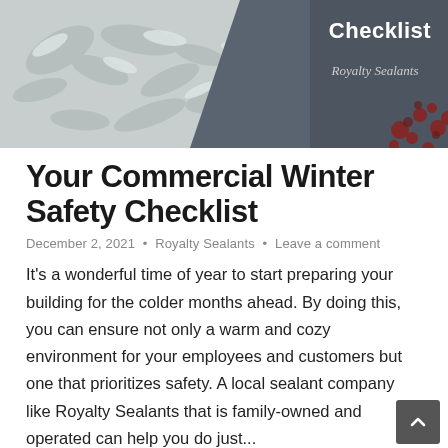[Figure (illustration): Header banner image showing winter/snow scene on the left half and dark slate gray background on the right with 'Checklist' text and 'Royalty Sealants' script logo, with red floral/leaf decoration in bottom right corner.]
Your Commercial Winter Safety Checklist
December 2, 2021  •  Royalty Sealants  •  Leave a comment
It's a wonderful time of year to start preparing your building for the colder months ahead. By doing this, you can ensure not only a warm and cozy environment for your employees and customers but one that prioritizes safety. A local sealant company like Royalty Sealants that is family-owned and operated can help you do just...